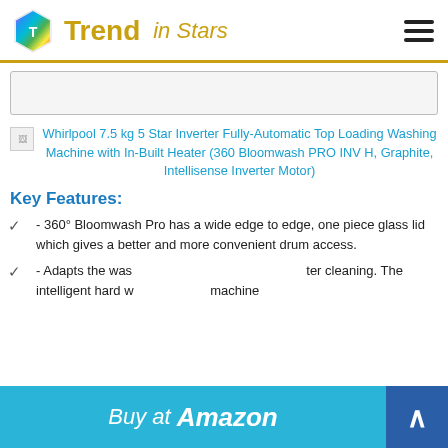Trend in Stars
[Figure (screenshot): Gray placeholder box, likely an advertisement or banner area]
Whirlpool 7.5 kg 5 Star Inverter Fully-Automatic Top Loading Washing Machine with In-Built Heater (360 Bloomwash PRO INV H, Graphite, Intellisense Inverter Motor)
Key Features:
- 360° Bloomwash Pro has a wide edge to edge, one piece glass lid which gives a better and more convenient drum access.
- Adapts the washing water temperature for better cleaning. The intelligent hard water softener machine
[Figure (screenshot): Buy at Amazon button/banner with blue background and arrow caret]